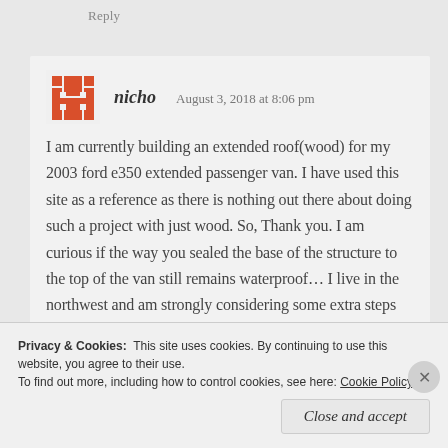Reply
[Figure (logo): Red snowflake/cross pattern avatar icon for user nicho]
nicho   August 3, 2018 at 8:06 pm
I am currently building an extended roof(wood) for my 2003 ford e350 extended passenger van. I have used this site as a reference as there is nothing out there about doing such a project with just wood. So, Thank you. I am curious if the way you sealed the base of the structure to the top of the van still remains waterproof... I live in the northwest and am strongly considering some extra steps there with some sort
Privacy & Cookies:  This site uses cookies. By continuing to use this website, you agree to their use.
To find out more, including how to control cookies, see here: Cookie Policy
Close and accept